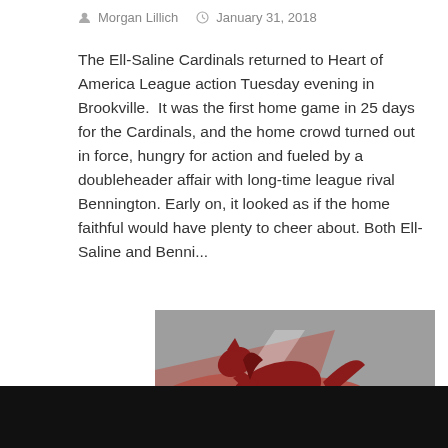Morgan Lillich   January 31, 2018
The Ell-Saline Cardinals returned to Heart of America League action Tuesday evening in Brookville.  It was the first home game in 25 days for the Cardinals, and the home crowd turned out in force, hungry for action and fueled by a doubleheader affair with long-time league rival Bennington. Early on, it looked as if the home faithful would have plenty to cheer about. Both Ell-Saline and Benni...
[Figure (logo): Salina Central Mustangs logo — a running red mustang horse silhouette over a gray and red brushstroke background with 'SALINA CENTRAL' text in white bold italic font.]